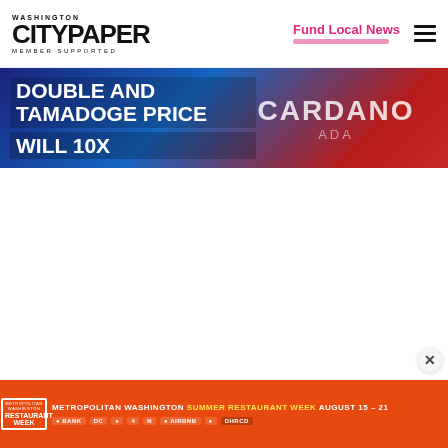WASHINGTON CITYPAPER MEMBER SUPPORTED | Fund Local News
[Figure (illustration): Cryptocurrency advertisement banner with dark blue and red gradient background. Bold white uppercase text reads 'DOUBLE AND TAMADOGE PRICE WILL 10X' on the left. On the right, large text reads 'CARDANO ADA' in white.]
[Figure (illustration): Metropolitan Washington Summer Restaurant Week advertisement. Orange background with white and yellow text: 'METROPOLITAN WASHINGTON SUMMER RESTAURANT WEEK AUGUST 15-21'. Left side shows the Restaurant Week logo with yellow shell icon. Multiple sponsor logos displayed on the right.]